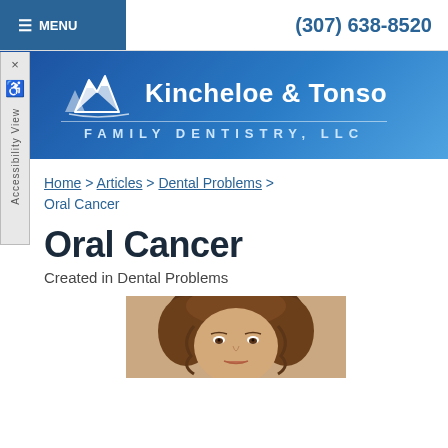≡ MENU    (307) 638-8520
[Figure (logo): Kincheloe & Tonso Family Dentistry LLC logo with mountain graphic on blue gradient banner]
Home > Articles > Dental Problems > Oral Cancer
Oral Cancer
Created in Dental Problems
[Figure (photo): Woman with curly brown hair, headshot photo, partially visible]